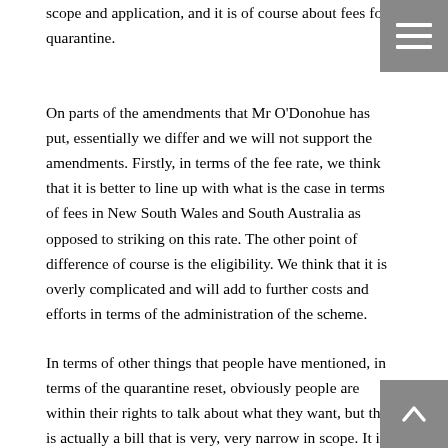scope and application, and it is of course about fees for quarantine.
On parts of the amendments that Mr O'Donohue has put, essentially we differ and we will not support the amendments. Firstly, in terms of the fee rate, we think that it is better to line up with what is the case in terms of fees in New South Wales and South Australia as opposed to striking on this rate. The other point of difference of course is the eligibility. We think that it is overly complicated and will add to further costs and efforts in terms of the administration of the scheme.
In terms of other things that people have mentioned, in terms of the quarantine reset, obviously people are within their rights to talk about what they want, but this is actually a bill that is very, very narrow in scope. It is about quarantine fees and how they would apply.